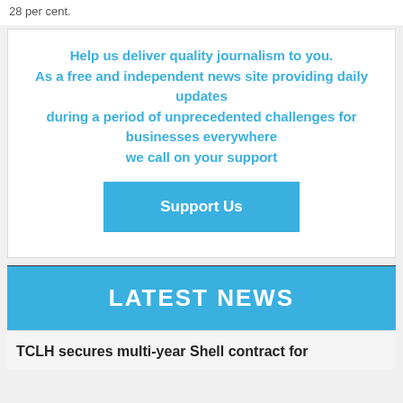28 per cent.
Help us deliver quality journalism to you.
As a free and independent news site providing daily updates
during a period of unprecedented challenges for businesses everywhere
we call on your support
Support Us
LATEST NEWS
TCLH secures multi-year Shell contract for